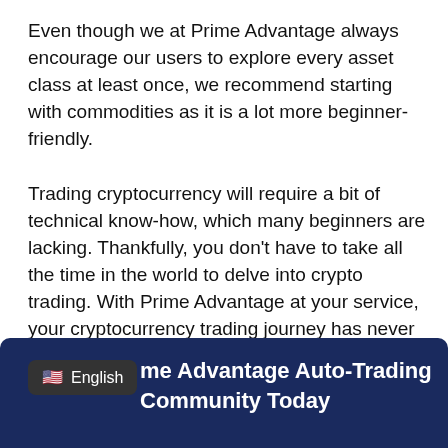Even though we at Prime Advantage always encourage our users to explore every asset class at least once, we recommend starting with commodities as it is a lot more beginner-friendly.
Trading cryptocurrency will require a bit of technical know-how, which many beginners are lacking. Thankfully, you don't have to take all the time in the world to delve into crypto trading. With Prime Advantage at your service, your cryptocurrency trading journey has never been easier.
Using our brilliant platform will automatically set you up for success.
me Advantage Auto-Trading Community Today